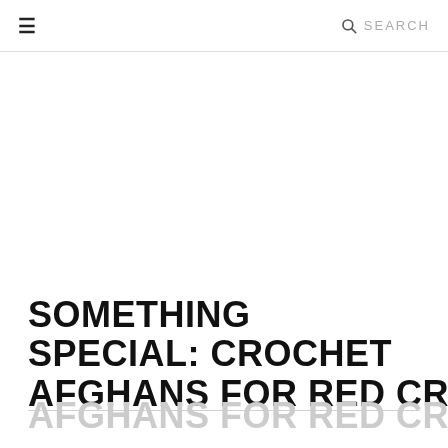≡  SEARCH
SOMETHING SPECIAL: CROCHET AFGHANS FOR RED CROSS